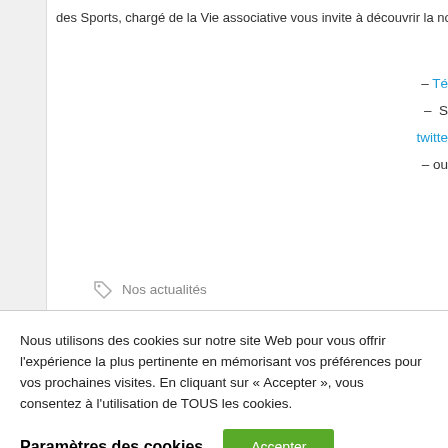des Sports, chargé de la Vie associative vous invite à découvrir la nouvelle p
– Té
– S
twitte
– ou
Nos actualités
Nous utilisons des cookies sur notre site Web pour vous offrir l'expérience la plus pertinente en mémorisant vos préférences pour vos prochaines visites. En cliquant sur « Accepter », vous consentez à l'utilisation de TOUS les cookies.
Paramètres des cookies
Accepter